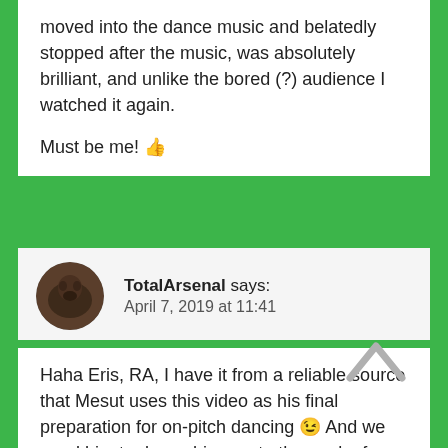moved into the dance music and belatedly stopped after the music, was absolutely brilliant, and unlike the bored (?) audience I watched it again.

Must be me! 👍
TotalArsenal says: April 7, 2019 at 11:41
Haha Eris, RA, I have it from a reliable source that Mesut uses this video as his final preparation for on-pitch dancing 😉 And we need him to dance his way to the goal a few times today!